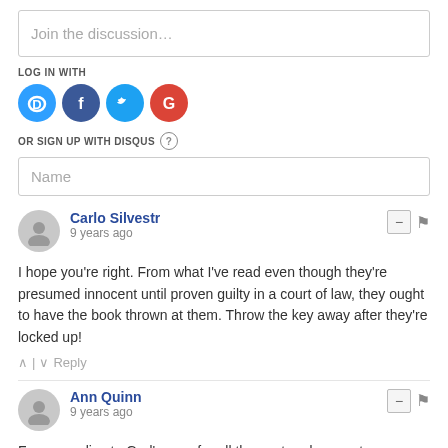Join the discussion…
LOG IN WITH
[Figure (infographic): Social login icons: Disqus (blue circle with D), Facebook (dark blue circle with f), Twitter (light blue circle with bird), Google (red circle with G)]
OR SIGN UP WITH DISQUS ?
Name
Carlo Silvestr
9 years ago
I hope you're right. From what I've read even though they're presumed innocent until proven guilty in a court of law, they ought to have the book thrown at them. Throw the key away after they're locked up!
Ann Quinn
9 years ago
From your lips to God's ears for all the past and present